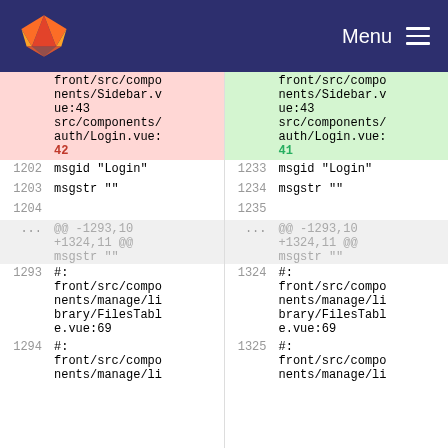GitLab — Menu
| line_old | content_old | line_new | content_new |
| --- | --- | --- | --- |
|  | front/src/components/Sidebar.vue:43 src/components/auth/Login.vue:42 |  | front/src/components/Sidebar.vue:43 src/components/auth/Login.vue:41 |
| 1202 | msgid "Login" | 1233 | msgid "Login" |
| 1203 | msgstr "" | 1234 | msgstr "" |
| 1204 |  | 1235 |  |
| ... | @@ -1293,10 +1324,11 @@ msgstr "" | ... | @@ -1293,10 +1324,11 @@ msgstr "" |
| 1293 | #: front/src/components/manage/library/FilesTable.vue:69 | 1324 | #: front/src/components/manage/library/FilesTable.vue:69 |
| 1294 | #: front/src/components/manage/li | 1325 | #: front/src/components/manage/li |